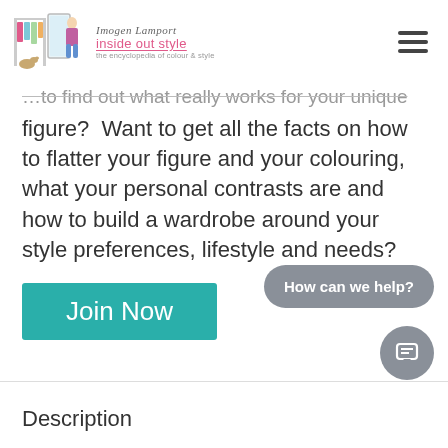Imogen Lamport – inside out style – the encyclopedia of colour & style
figure?  Want to get all the facts on how to flatter your figure and your colouring, what your personal contrasts are and how to build a wardrobe around your style preferences, lifestyle and needs?
Join Now
How can we help?
Description